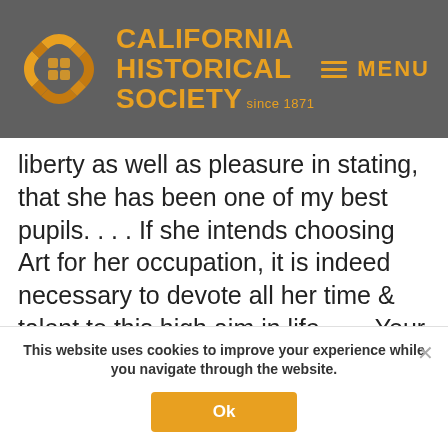CALIFORNIA HISTORICAL SOCIETY since 1871 | MENU
liberty as well as pleasure in stating, that she has been one of my best pupils. . . . If she intends choosing Art for her occupation, it is indeed necessary to devote all her time & talent to this high aim in life. . . . Your daughter . . . will soon rise above her classmates by studying very earnestly."
This website uses cookies to improve your experience while you navigate through the website.